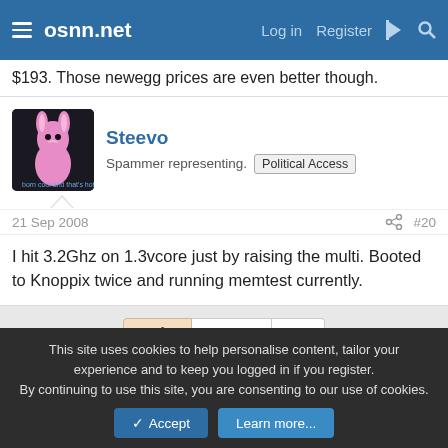osnn.net  Log in  Register
$193. Those newegg prices are even better though.
Steevo
Spammer representing.  Political Access
21 Sep 2008  #20
I hit 3.2Ghz on 1.3vcore just by raising the multi. Booted to Knoppix twice and running memtest currently.
1 of 2  Next  ▶▶
You must log in or register to reply here.
This site uses cookies to help personalise content, tailor your experience and to keep you logged in if you register.
By continuing to use this site, you are consenting to our use of cookies.
Accept  Learn more...